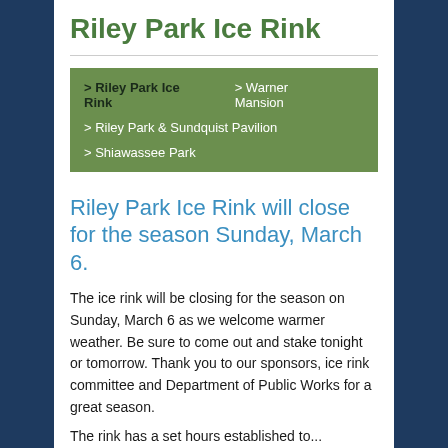Riley Park Ice Rink
> Riley Park Ice Rink  > Warner Mansion
> Riley Park & Sundquist Pavilion
> Shiawassee Park
Riley Park Ice Rink will close for the season Sunday, March 6.
The ice rink will be closing for the season on Sunday, March 6 as we welcome warmer weather. Be sure to come out and stake tonight or tomorrow. Thank you to our sponsors, ice rink committee and Department of Public Works for a great season.
The rink has a set hours established to...